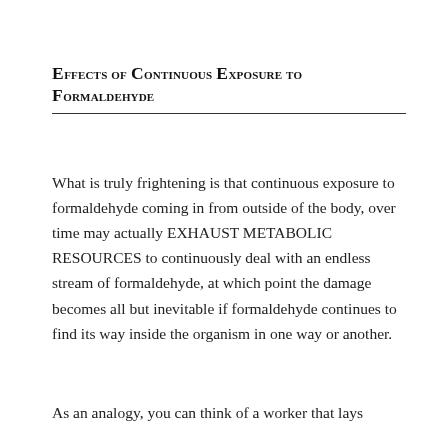Effects of Continuous Exposure to Formaldehyde
What is truly frightening is that continuous exposure to formaldehyde coming in from outside of the body, over time may actually EXHAUST METABOLIC RESOURCES to continuously deal with an endless stream of formaldehyde, at which point the damage becomes all but inevitable if formaldehyde continues to find its way inside the organism in one way or another.
As an analogy, you can think of a worker that lays